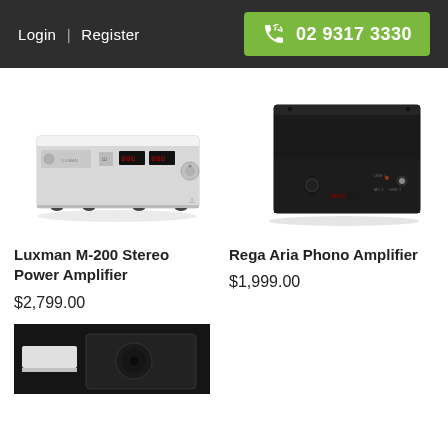Login | Register   02 9317 3330
[Figure (photo): Luxman M-200 Stereo Power Amplifier - silver horizontal rack-style amplifier with red LED displays]
Luxman M-200 Stereo Power Amplifier
$2,799.00
[Figure (photo): Rega Aria Phono Amplifier - black box amplifier with small controls]
Rega Aria Phono Amplifier
$1,999.00
[Figure (photo): Partially visible third amplifier product - black unit visible at bottom of page]